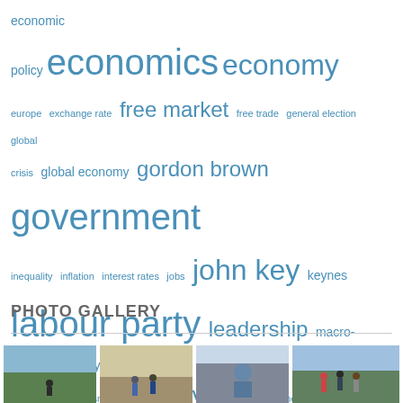[Figure (infographic): Tag cloud with economics and politics related terms in various font sizes, all in blue. Larger terms include: economics, economy, government, labour party, new zealand, politics, recession, uk, unemployment. Smaller terms include: economic policy, europe, exchange rate, free market, free trade, general election, global, crisis, global economy, gordon brown, inequality, inflation, interest rates, jobs, john key, keynes, leadership, macro-economic policy, maori, markets, monetarism, monetary policy, money, new labour, politicians, poverty, prime minister, rugby, tony blair, trade, wealth.]
PHOTO GALLERY
[Figure (photo): Photo gallery row showing four thumbnail photographs of people outdoors.]